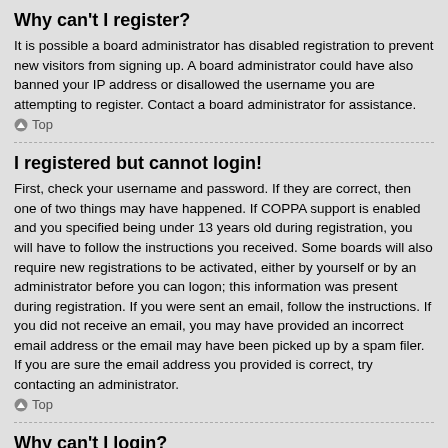Why can't I register?
It is possible a board administrator has disabled registration to prevent new visitors from signing up. A board administrator could have also banned your IP address or disallowed the username you are attempting to register. Contact a board administrator for assistance.
Top
I registered but cannot login!
First, check your username and password. If they are correct, then one of two things may have happened. If COPPA support is enabled and you specified being under 13 years old during registration, you will have to follow the instructions you received. Some boards will also require new registrations to be activated, either by yourself or by an administrator before you can logon; this information was present during registration. If you were sent an email, follow the instructions. If you did not receive an email, you may have provided an incorrect email address or the email may have been picked up by a spam filer. If you are sure the email address you provided is correct, try contacting an administrator.
Top
Why can't I login?